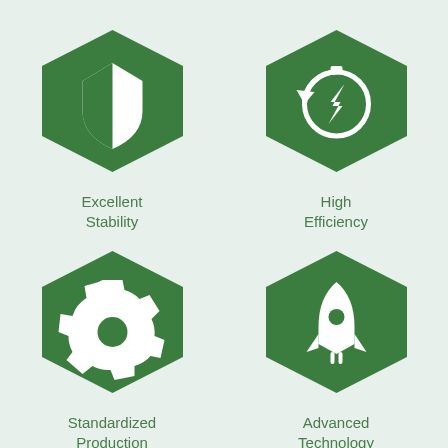[Figure (illustration): Green hexagon with white shield icon representing Excellent Stability]
Excellent Stability
[Figure (illustration): Green hexagon with white stopwatch/lightning icon representing High Efficiency]
High Efficiency
[Figure (illustration): Green hexagon with white gear/cog icon representing Standardized Production]
Standardized Production
[Figure (illustration): Green hexagon with white rocket icon representing Advanced Technology]
Advanced Technology